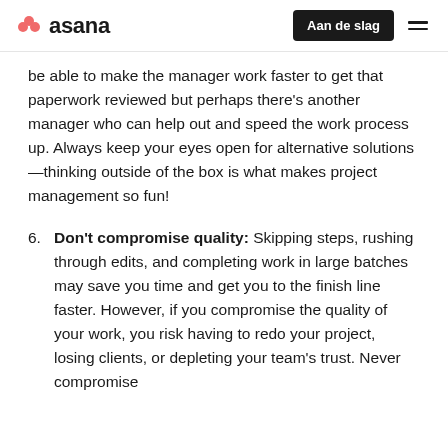asana | Aan de slag
be able to make the manager work faster to get that paperwork reviewed but perhaps there’s another manager who can help out and speed the work process up. Always keep your eyes open for alternative solutions—thinking outside of the box is what makes project management so fun!
6. Don’t compromise quality: Skipping steps, rushing through edits, and completing work in large batches may save you time and get you to the finish line faster. However, if you compromise the quality of your work, you risk having to redo your project, losing clients, or depleting your team’s trust. Never compromise